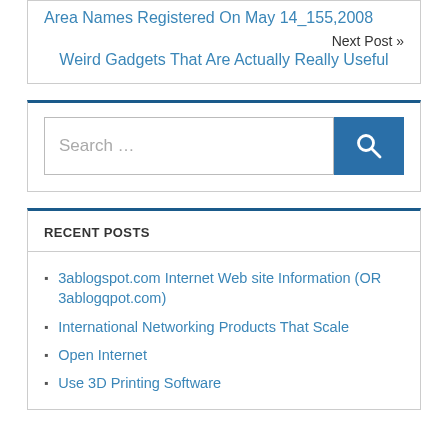Area Names Registered On May 14_155,2008
Next Post »
Weird Gadgets That Are Actually Really Useful
[Figure (screenshot): Search box with text 'Search …' and a blue search button with magnifier icon]
RECENT POSTS
3ablogspot.com Internet Web site Information (OR 3ablogqpot.com)
International Networking Products That Scale
Open Internet
Use 3D Printing Software